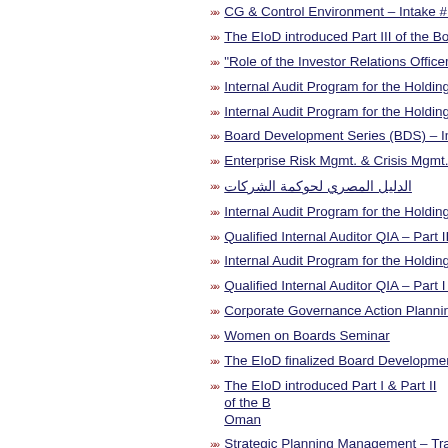CG & Control Environment – Intake #1
The EIoD introduced Part III of the Board D...
"Role of the Investor Relations Officer" Intak...
Internal Audit Program for the Holding Co. f...
Internal Audit Program for the Holding Co. f...
Board Development Series (BDS) – Intake #...
Enterprise Risk Mgmt. & Crisis Mgmt." Certi...
الدليل المصري لحوكمة الشركات
Internal Audit Program for the Holding Co. f...
Qualified Internal Auditor QIA – Part II – Inta...
Internal Audit Program for the Holding Co. f...
Qualified Internal Auditor QIA – Part I – Inta...
Corporate Governance Action Planning Wo...
Women on Boards Seminar
The EIoD finalized Board Development Seri...
The EIoD introduced Part I & Part II of the B... Oman
Strategic Planning Management – Training ...